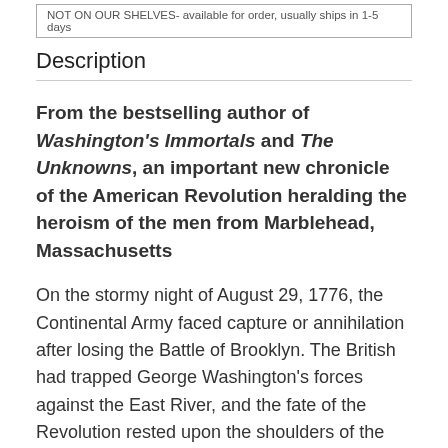NOT ON OUR SHELVES- available for order, usually ships in 1-5 days
Description
From the bestselling author of Washington's Immortals and The Unknowns, an important new chronicle of the American Revolution heralding the heroism of the men from Marblehead, Massachusetts
On the stormy night of August 29, 1776, the Continental Army faced capture or annihilation after losing the Battle of Brooklyn. The British had trapped George Washington's forces against the East River, and the fate of the Revolution rested upon the shoulders of the soldier-mariners from Marblehead, Massachusetts